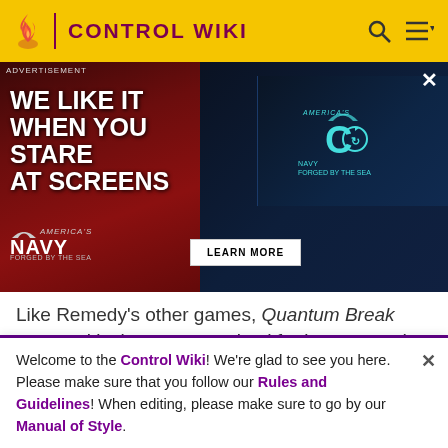CONTROL WIKI
[Figure (photo): Advertisement: US Navy ad with woman in red light, text 'WE LIKE IT WHEN YOU STARE AT SCREENS', NAVY FORGED BY THE SEA logo, LEARN MORE button, and video thumbnail of Navy logo.]
Like Remedy's other games, Quantum Break was a critical success, praised for its story and gameplay.
Other Titles
In 2013, Remedy released Agents of Storm, an iOS exclusive 3D strategy game set in an archipelago of
Welcome to the Control Wiki! We're glad to see you here. Please make sure that you follow our Rules and Guidelines! When editing, please make sure to go by our Manual of Style.